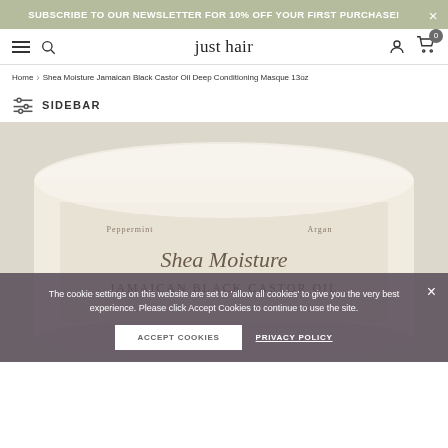SUBSCRIBE TO OUR NEWSLETTER FOR 10% OFF YOUR FIRST PURCHASE!
[Figure (screenshot): Navigation bar with hamburger menu, search icon, 'just hair' brand logo, user icon, and cart icon showing 0 items]
Home > Shea Moisture Jamaican Black Castor Oil Deep Conditioning Masque 13oz
SIDEBAR
[Figure (photo): Shea Moisture Jamaican Black Castor Oil product jar, partially visible, showing label text 'JAMAICAN BLACK CASTOR OIL']
The cookie settings on this website are set to 'allow all cookies' to give you the very best experience. Please click Accept Cookies to continue to use the site.
ACCEPT COOKIES
PRIVACY POLICY